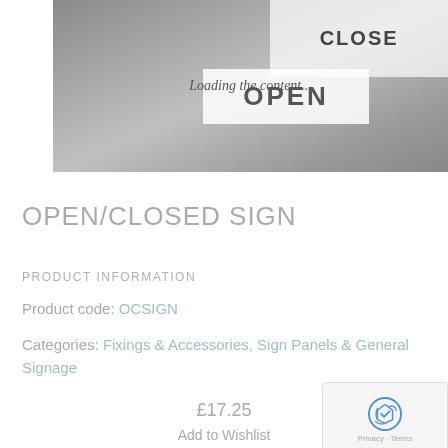[Figure (photo): Photo of a person holding an Open/Closed sign in a shop doorway, showing credit card stickers (Visa, Mastercard, Delta, American Express) on the door. Text overlay reads 'Loading the content...']
OPEN/CLOSED SIGN
PRODUCT INFORMATION
Product code: OCSIGN
Categories: Fixings & Accessories, Sign Panels & General Signage
£17.25
Add to Wishlist